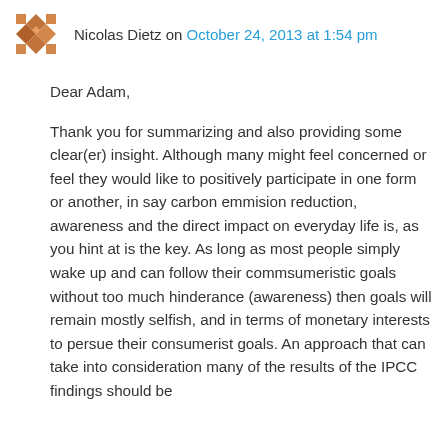Nicolas Dietz on October 24, 2013 at 1:54 pm
Dear Adam,

Thank you for summarizing and also providing some clear(er) insight. Although many might feel concerned or feel they would like to positively participate in one form or another, in say carbon emmision reduction, awareness and the direct impact on everyday life is, as you hint at is the key. As long as most people simply wake up and can follow their commsumeristic goals without too much hinderance (awareness) then goals will remain mostly selfish, and in terms of monetary interests to persue their consumerist goals. An approach that can take into consideration many of the results of the IPCC findings should be